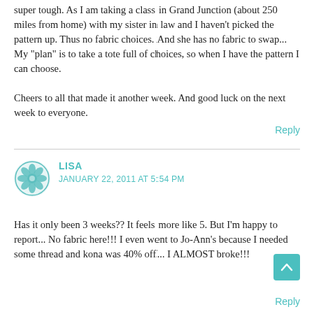super tough. As I am taking a class in Grand Junction (about 250 miles from home) with my sister in law and I haven't picked the pattern up. Thus no fabric choices. And she has no fabric to swap... My "plan" is to take a tote full of choices, so when I have the pattern I can choose.

Cheers to all that made it another week. And good luck on the next week to everyone.
Reply
[Figure (illustration): Circular decorative avatar icon with floral/geometric pattern in teal/green color]
LISA
JANUARY 22, 2011 AT 5:54 PM
Has it only been 3 weeks?? It feels more like 5. But I'm happy to report... No fabric here!!! I even went to Jo-Ann's because I needed some thread and kona was 40% off... I ALMOST broke!!!
[Figure (illustration): Teal scroll-to-top button with upward chevron arrow]
Reply